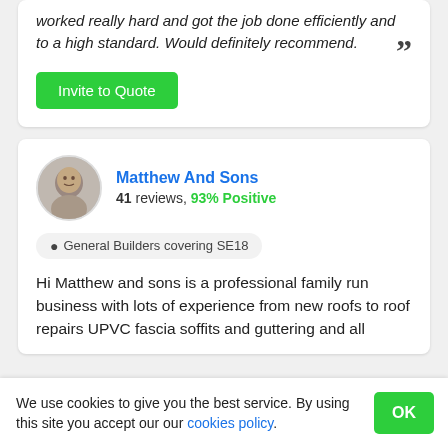worked really hard and got the job done efficiently and to a high standard. Would definitely recommend.
Invite to Quote
Matthew And Sons
41 reviews, 93% Positive
General Builders covering SE18
Hi Matthew and sons is a professional family run business with lots of experience from new roofs to roof repairs UPVC fascia soffits and guttering and all
We use cookies to give you the best service. By using this site you accept our our cookies policy.